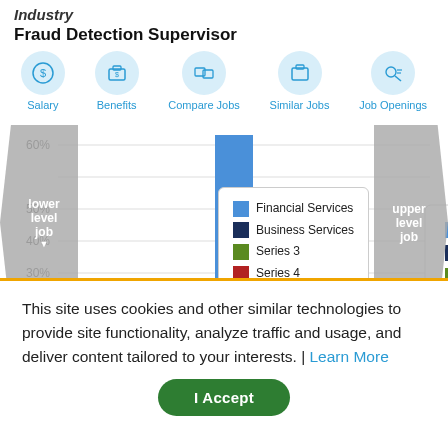Industry
Fraud Detection Supervisor
[Figure (infographic): Navigation icons row: Salary, Benefits, Compare Jobs, Similar Jobs, Job Openings — each with a light blue circular icon]
[Figure (bar-chart): Industry distribution for Fraud Detection Supervisor]
This site uses cookies and other similar technologies to provide site functionality, analyze traffic and usage, and deliver content tailored to your interests. | Learn More
I Accept